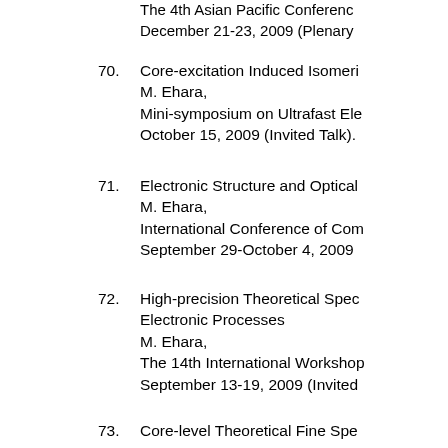The 4th Asian Pacific Conference... December 21-23, 2009 (Plenary...
70. Core-excitation Induced Isomeri... M. Ehara, Mini-symposium on Ultrafast Ele... October 15, 2009 (Invited Talk).
71. Electronic Structure and Optical... M. Ehara, International Conference of Com... September 29-October 4, 2009 ...
72. High-precision Theoretical Spec... Electronic Processes M. Ehara, The 14th International Workshop... September 13-19, 2009 (Invited...
73. Core-level Theoretical Fine Spe... M. Ehara, The 3-rd Japan-Czech-Slovakia... September 9-12, 2009 (Invited T...
74. High-precision Ab initio Core-lev... M. Ehara,